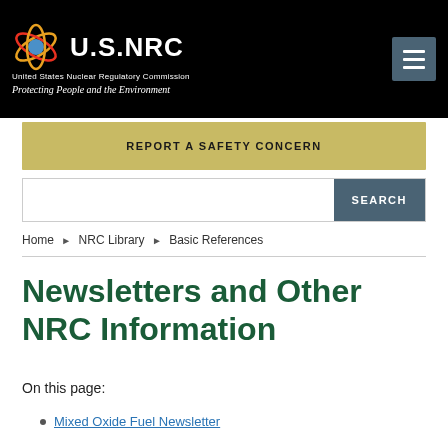U.S.NRC United States Nuclear Regulatory Commission Protecting People and the Environment
REPORT A SAFETY CONCERN
SEARCH
Home ▶ NRC Library ▶ Basic References
Newsletters and Other NRC Information
On this page:
Mixed Oxide Fuel Newsletter